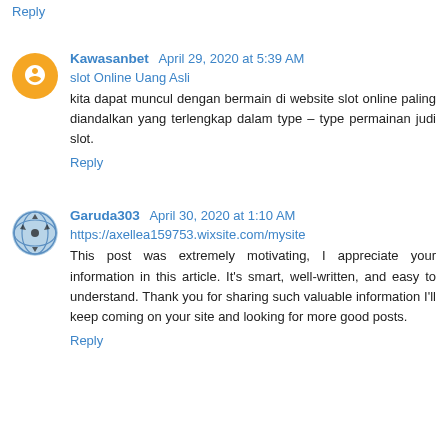Reply
Kawasanbet April 29, 2020 at 5:39 AM
slot Online Uang Asli
kita dapat muncul dengan bermain di website slot online paling diandalkan yang terlengkap dalam type – type permainan judi slot.
Reply
Garuda303 April 30, 2020 at 1:10 AM
https://axellea159753.wixsite.com/mysite
This post was extremely motivating, I appreciate your information in this article. It's smart, well-written, and easy to understand. Thank you for sharing such valuable information I'll keep coming on your site and looking for more good posts.
Reply